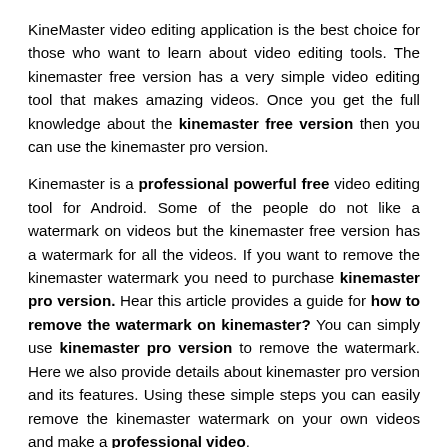KineMaster video editing application is the best choice for those who want to learn about video editing tools. The kinemaster free version has a very simple video editing tool that makes amazing videos. Once you get the full knowledge about the kinemaster free version then you can use the kinemaster pro version.
Kinemaster is a professional powerful free video editing tool for Android. Some of the people do not like a watermark on videos but the kinemaster free version has a watermark for all the videos. If you want to remove the kinemaster watermark you need to purchase kinemaster pro version. Hear this article provides a guide for how to remove the watermark on kinemaster? You can simply use kinemaster pro version to remove the watermark. Here we also provide details about kinemaster pro version and its features. Using these simple steps you can easily remove the kinemaster watermark on your own videos and make a professional video.